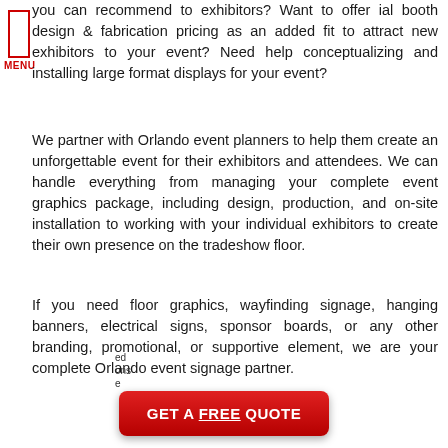you can recommend to exhibitors? Want to offer ial booth design & fabrication pricing as an added fit to attract new exhibitors to your event? Need help conceptualizing and installing large format displays for your event?
We partner with Orlando event planners to help them create an unforgettable event for their exhibitors and attendees. We can handle everything from managing your complete event graphics package, including design, production, and on-site installation to working with your individual exhibitors to create their own presence on the tradeshow floor.
If you need floor graphics, wayfinding signage, hanging banners, electrical signs, sponsor boards, or any other branding, promotional, or supportive element, we are your complete Orlando event signage partner.
[Figure (other): Red button with text GET A FREE QUOTE]